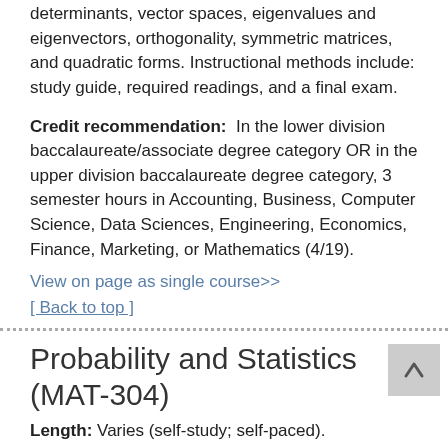determinants, vector spaces, eigenvalues and eigenvectors, orthogonality, symmetric matrices, and quadratic forms. Instructional methods include: study guide, required readings, and a final exam.
Credit recommendation: In the lower division baccalaureate/associate degree category OR in the upper division baccalaureate degree category, 3 semester hours in Accounting, Business, Computer Science, Data Sciences, Engineering, Economics, Finance, Marketing, or Mathematics (4/19).
View on page as single course>>
[ Back to top ]
Probability and Statistics (MAT-304)
Length: Varies (self-study; self-paced).